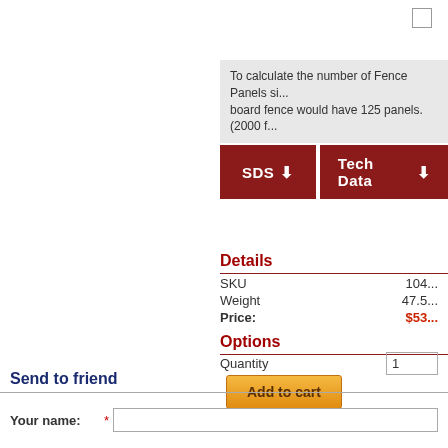[Figure (screenshot): Checkbox input top right corner]
To calculate the number of Fence Panels si... board fence would have 125 panels. (2000 f...
SDS ↓   Tech Data ↓
Details
|  |  |
| --- | --- |
| SKU | 104... |
| Weight | 47.5... |
| Price: | $53... |
Options
Quantity   1
Add to cart
Send to friend
Your name: *